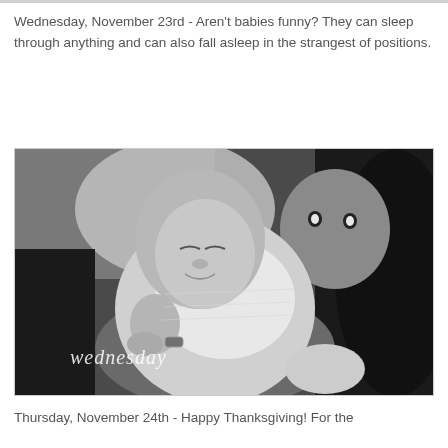Wednesday, November 23rd - Aren't babies funny?  They can sleep through anything and can also fall asleep in the strangest of positions.
[Figure (photo): Black and white photograph of a sleeping baby being held by an adult. The baby's head is drooping forward while sleeping. Text 'wednesday' is written in cursive script in the lower left of the photo.]
Thursday, November 24th - Happy Thanksgiving!  For the